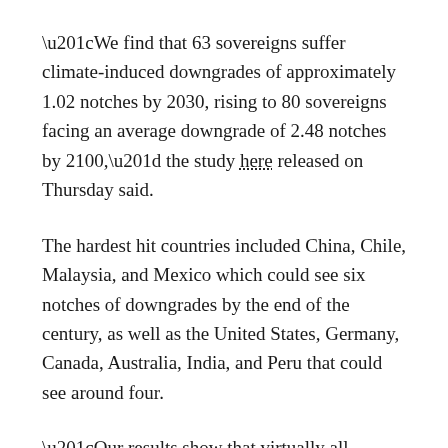“We find that 63 sovereigns suffer climate-induced downgrades of approximately 1.02 notches by 2030, rising to 80 sovereigns facing an average downgrade of 2.48 notches by 2100,” the study here released on Thursday said.
The hardest hit countries included China, Chile, Malaysia, and Mexico which could see six notches of downgrades by the end of the century, as well as the United States, Germany, Canada, Australia, India, and Peru that could see around four.
“Our results show that virtually all countries, whether rich or poor, hot or cold, will suffer downgrades if the current trajectory of carbon emissions is maintained.”